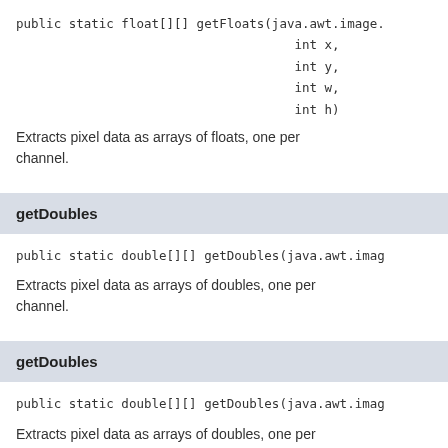public static float[][] getFloats(java.awt.image.
                                int x,
                                int y,
                                int w,
                                int h)
Extracts pixel data as arrays of floats, one per channel.
getDoubles
public static double[][] getDoubles(java.awt.imag
Extracts pixel data as arrays of doubles, one per channel.
getDoubles
public static double[][] getDoubles(java.awt.imag
Extracts pixel data as arrays of doubles, one per channel.